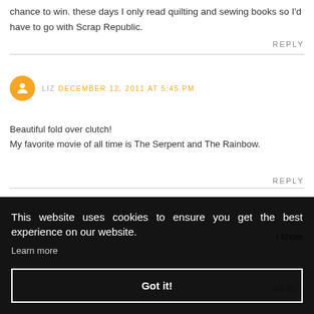chance to win. these days I only read quilting and sewing books so I'd have to go with Scrap Republic.
REPLY
LIZ DECEMBER 12, 2011 AT 5:45 PM
Beautiful fold over clutch!
My favorite movie of all time is The Serpent and The Rainbow.
REPLY
This website uses cookies to ensure you get the best experience on our website. Learn more
Got it!